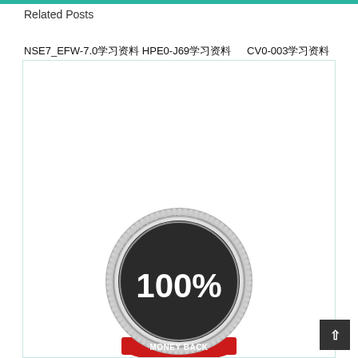Related Posts
NSE7_EFW-7.0学习资料  HPE0-J69学习资料       CV0-003学习资料
[Figure (illustration): A silver/metallic circular badge with red ribbon at bottom reading '100%' in large text. Around the edge it says 'if no help, give you full refund'. The badge has a decorative jagged/gear-like border.]